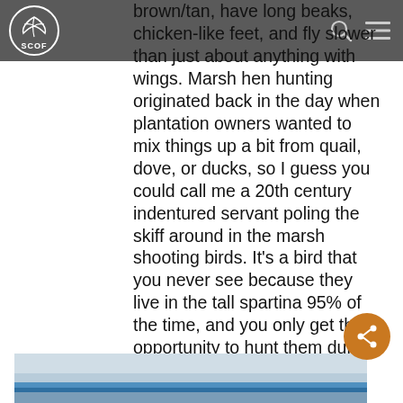SCOF
brown/tan, have long beaks, chicken-like feet, and fly slower than just about anything with wings. Marsh hen hunting originated back in the day when plantation owners wanted to mix things up a bit from quail, dove, or ducks, so I guess you could call me a 20th century indentured servant poling the skiff around in the marsh shooting birds. It's a bird that you never see because they live in the tall spartina 95% of the time, and you only get the opportunity to hunt them during the 10-20 big tides during the season every year. When one starts chattering, it sounds like a chicken that already had its head cut off, which I'm sure you've heard if you have ever fished the east coast marsh lands from Northern Florida up to North Carolina.
[Figure (photo): Bottom portion of a photo showing water and sky, partially visible at the bottom of the page]